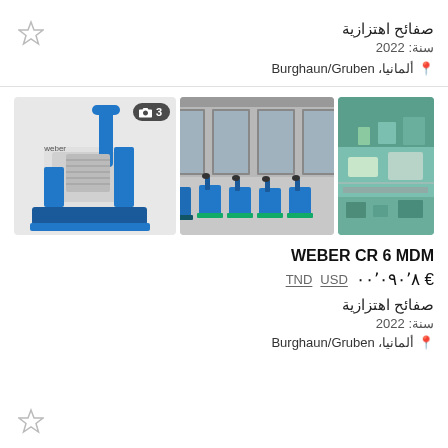صفائح اهتزازية
سنة: 2022
ألمانيا، Burghaun/Gruben
[Figure (photo): Three photos: aerial view of facility, row of blue plate compactors (WEBER) in front of industrial building, and close-up of single blue WEBER CR6 plate compactor with camera badge showing 3 photos]
WEBER CR 6 MDM
€ ٨٬٠٩٠٬٠٠ TND USD
صفائح اهتزازية
سنة: 2022
Burghaun/Gruben ألمانيا،